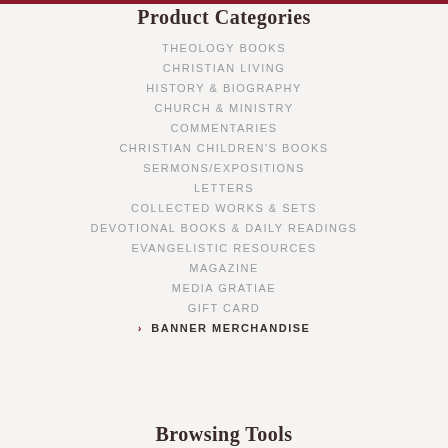Product Categories
THEOLOGY BOOKS
CHRISTIAN LIVING
HISTORY & BIOGRAPHY
CHURCH & MINISTRY
COMMENTARIES
CHRISTIAN CHILDREN'S BOOKS
SERMONS/EXPOSITIONS
LETTERS
COLLECTED WORKS & SETS
DEVOTIONAL BOOKS & DAILY READINGS
EVANGELISTIC RESOURCES
MAGAZINE
MEDIA GRATIAE
GIFT CARD
› BANNER MERCHANDISE
Browsing Tools